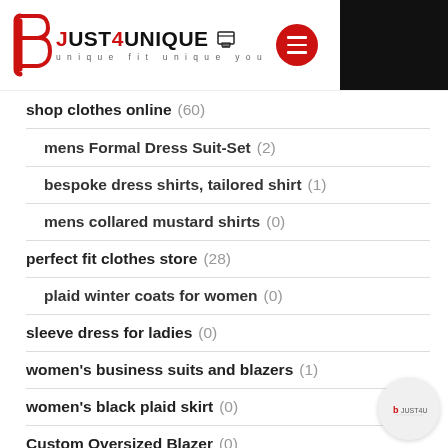Just4Unique – unique fit unique you
shop clothes online (60)
mens Formal Dress Suit-Set (2)
bespoke dress shirts, tailored shirt (1)
mens collared mustard shirts (0)
perfect fit clothes store (28)
plaid winter coats for women (0)
sleeve dress for ladies (0)
women's business suits and blazers (1)
women's black plaid skirt (0)
Custom Oversized Blazer (0)